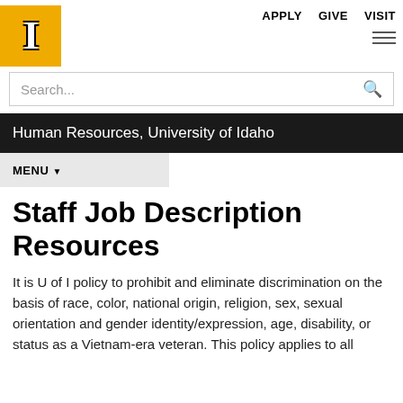[Figure (logo): University of Idaho gold block logo with white letter I]
APPLY   GIVE   VISIT
Search...
Human Resources, University of Idaho
MENU
Staff Job Description Resources
It is U of I policy to prohibit and eliminate discrimination on the basis of race, color, national origin, religion, sex, sexual orientation and gender identity/expression, age, disability, or status as a Vietnam-era veteran. This policy applies to all